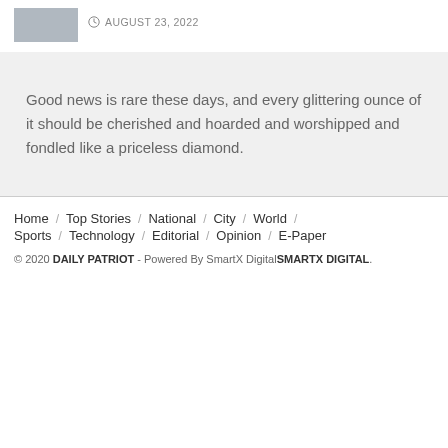[Figure (photo): Small thumbnail photo of a person, partially visible]
AUGUST 23, 2022
Good news is rare these days, and every glittering ounce of it should be cherished and hoarded and worshipped and fondled like a priceless diamond.
Home / Top Stories / National / City / World / Sports / Technology / Editorial / Opinion / E-Paper
© 2020 DAILY PATRIOT - Powered By SmartX DigitalSMARTX DIGITAL.